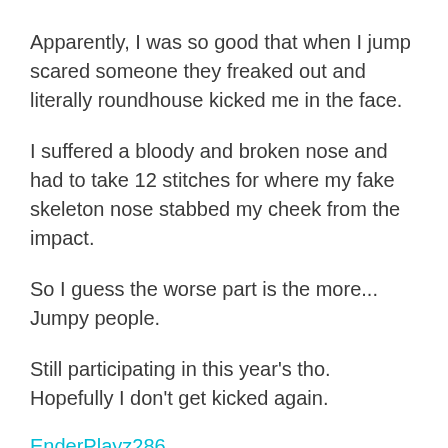Apparently, I was so good that when I jump scared someone they freaked out and literally roundhouse kicked me in the face.
I suffered a bloody and broken nose and had to take 12 stitches for where my fake skeleton nose stabbed my cheek from the impact.
So I guess the worse part is the more... Jumpy people.
Still participating in this year's tho. Hopefully I don't get kicked again.
EnderPlayz286